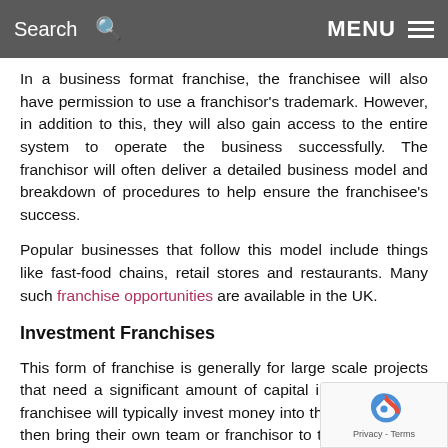Search  MENU
In a business format franchise, the franchisee will also have permission to use a franchisor's trademark. However, in addition to this, they will also gain access to the entire system to operate the business successfully. The franchisor will often deliver a detailed business model and breakdown of procedures to help ensure the franchisee's success.
Popular businesses that follow this model include things like fast-food chains, retail stores and restaurants. Many such franchise opportunities are available in the UK.
Investment Franchises
This form of franchise is generally for large scale projects that need a significant amount of capital investment. The franchisee will typically invest money into the business and then bring their own team or franchisor to take care of the operations. The overarching idea with these businesses is for franchisees to invest and then distance themselves from the operations to make a return on their capital.
Some types of businesses that follow this model are things like hotels and large restaurants.